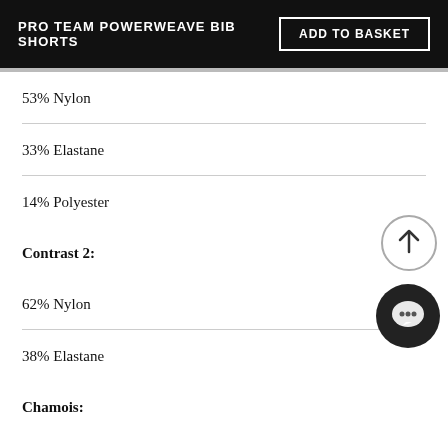PRO TEAM POWERWEAVE BIB SHORTS
53% Nylon
33% Elastane
14% Polyester
Contrast 2:
62% Nylon
38% Elastane
Chamois: